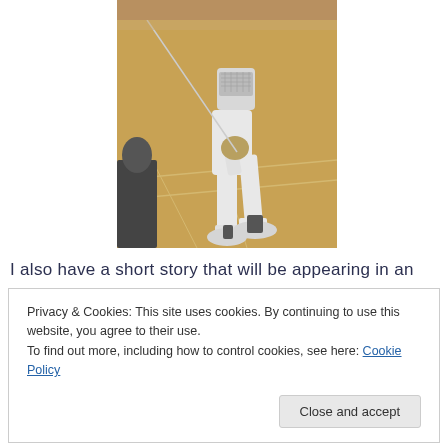[Figure (photo): A fencer in white protective gear holding a sword in a gymnasium with a wooden floor. The fencer is mid-stance during a fencing match or practice session.]
I also have a short story that will be appearing in an
Privacy & Cookies: This site uses cookies. By continuing to use this website, you agree to their use. To find out more, including how to control cookies, see here: Cookie Policy
Close and accept